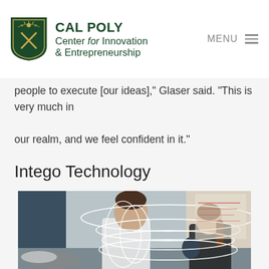CAL POLY Center for Innovation & Entrepreneurship
people to execute [our ideas]," Glaser said. "This is very much in our realm, and we feel confident in it."
Intego Technology
[Figure (photo): Two students at a counter/table, one male holding shoes and smiling, one female with a ponytail holding an item; white overlapping ellipse graphics overlaid on the image; whiteboard visible in background.]